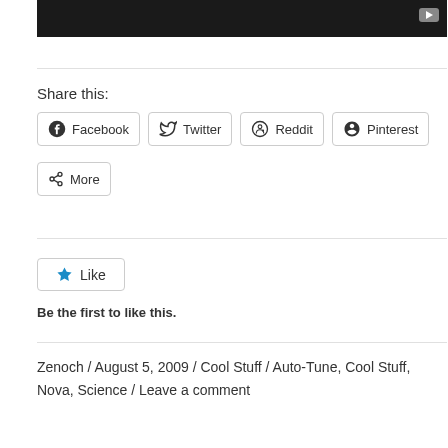[Figure (screenshot): Video thumbnail strip with dark background and a YouTube-style play button in top right corner]
Share this:
Facebook  Twitter  Reddit  Pinterest  More
Like
Be the first to like this.
Zenoch / August 5, 2009 / Cool Stuff / Auto-Tune, Cool Stuff, Nova, Science / Leave a comment